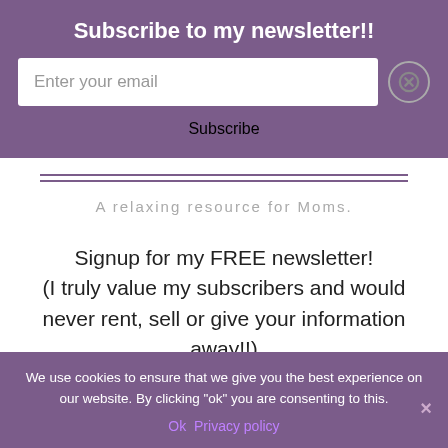Subscribe to my newsletter!!
Enter your email
Subscribe
A relaxing resource for Moms.
Signup for my FREE newsletter! (I truly value my subscribers and would never rent, sell or give your information away!!)
Enter your email
We use cookies to ensure that we give you the best experience on our website. By clicking "ok" you are consenting to this.
Ok  Privacy policy